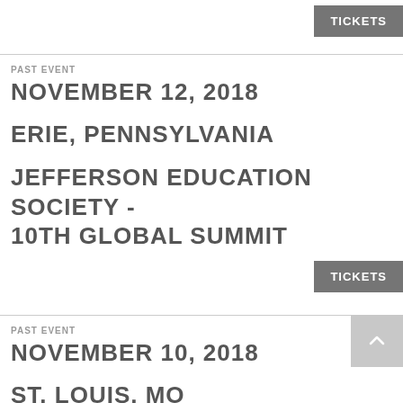TICKETS
PAST EVENT
NOVEMBER 12, 2018
ERIE, PENNSYLVANIA
JEFFERSON EDUCATION SOCIETY - 10TH GLOBAL SUMMIT
TICKETS
PAST EVENT
NOVEMBER 10, 2018
ST. LOUIS, MO